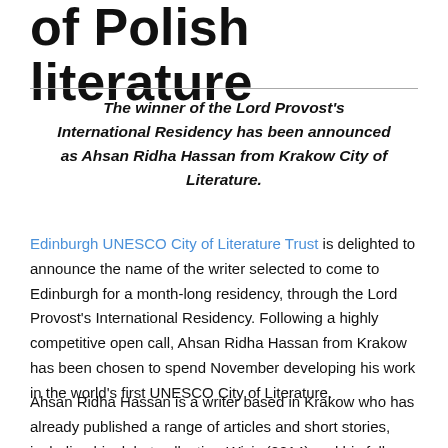of Polish literature
The winner of the Lord Provost's International Residency has been announced as Ahsan Ridha Hassan from Krakow City of Literature.
Edinburgh UNESCO City of Literature Trust is delighted to announce the name of the writer selected to come to Edinburgh for a month-long residency, through the Lord Provost's International Residency. Following a highly competitive open call, Ahsan Ridha Hassan from Krakow has been chosen to spend November developing his work in the world's first UNESCO City of Literature.
Ahsan Ridha Hassan is a writer based in Krakow who has already published a range of articles and short stories, including his debut collection Wicio (2014) and his follow-up Transgishi